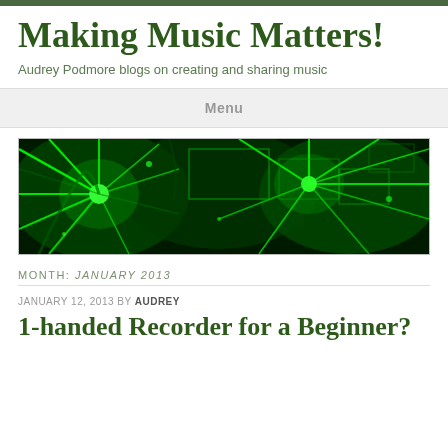Making Music Matters!
Audrey Podmore blogs on creating and sharing music
Menu
[Figure (photo): A green-tinted abstract banner image showing trees and star-burst light patterns, heavily processed with green color effect]
MONTH: JANUARY 2013
JANUARY 12, 2013 BY AUDREY
1-handed Recorder for a Beginner?